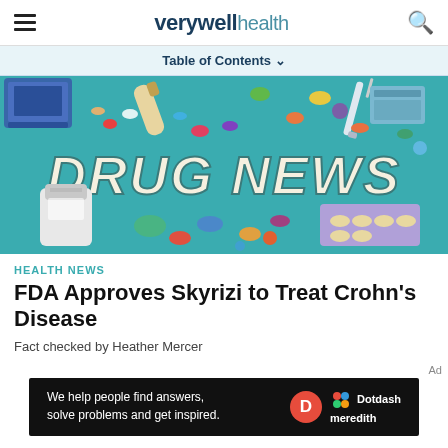verywell health
Table of Contents
[Figure (illustration): Drug News illustration: teal background with pills, capsules, syringes, a pill bottle, blister pack, and other medical items. Large text reads DRUG NEWS in the center.]
HEALTH NEWS
FDA Approves Skyrizi to Treat Crohn's Disease
Fact checked by Heather Mercer
[Figure (logo): Dotdash Meredith advertisement banner: dark background with text 'We help people find answers, solve problems and get inspired.' with Dotdash Meredith logo.]